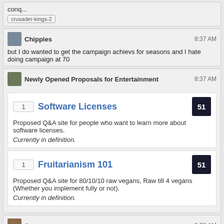conq...
crusader-kings-2
Chippies  8:37 AM
but I do wanted to get the campaign achievs for seasons and I hate doing campaign at 70
Newly Opened Proposals for Entertainment  8:37 AM
1  Software Licenses  51
Proposed Q&A site for people who want to learn more about software licenses.
Currently in definition.
1  Fruitarianism 101  51
Proposed Q&A site for 80/10/10 raw vegans, Raw till 4 vegans (Whether you implement fully or not).
Currently in definition.
Arperum  8:38 AM
@Chippies I still need to finish the campaign on my crusader.
I did it on my demon hunter though.
5pike  8:51 AM
@NewlyOpenedProposalsforEntertainment what?